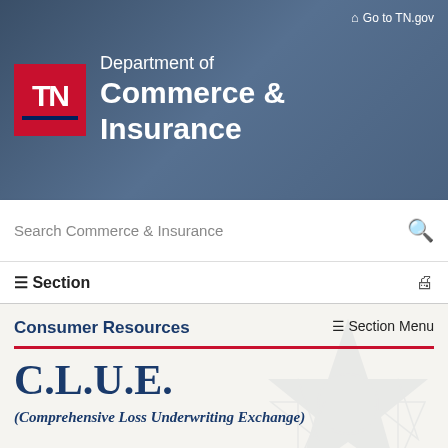[Figure (logo): Tennessee Department of Commerce & Insurance logo with TN red square logo and department name in white text on blue-gray background]
Go to TN.gov
Search Commerce & Insurance
≡ Section
Consumer Resources
≡ Section Menu
C.L.U.E.
(Comprehensive Loss Underwriting Exchange)
CLUE is a claims-information report generated by LexisNexis®, a consumer-reporting agency. The report generally contains up to seven